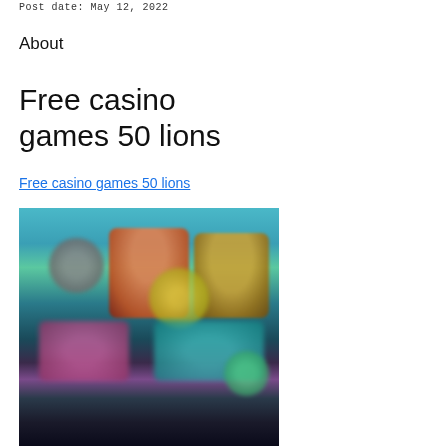Post date: May 12, 2022
About
Free casino games 50 lions
Free casino games 50 lions
[Figure (photo): Blurred screenshot of a casino games interface showing multiple colorful game thumbnails with character art on a dark background]